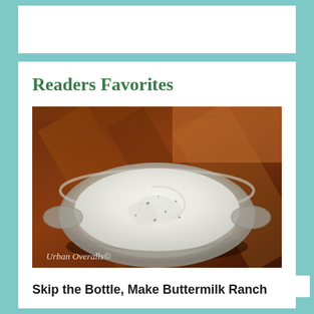Readers Favorites
[Figure (photo): A glass bowl filled with creamy buttermilk ranch dressing on a wooden surface, with watermark text 'Urban Overalls©' in the bottom left corner.]
Skip the Bottle, Make Buttermilk Ranch